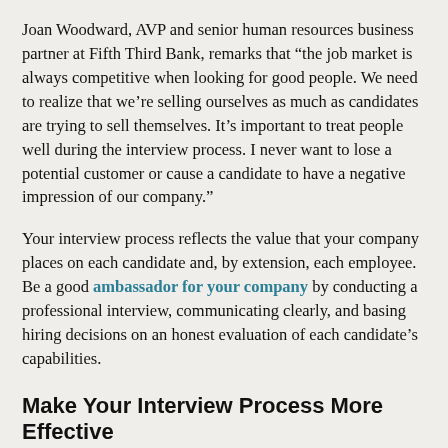Joan Woodward, AVP and senior human resources business partner at Fifth Third Bank, remarks that “the job market is always competitive when looking for good people. We need to realize that we’re selling ourselves as much as candidates are trying to sell themselves. It’s important to treat people well during the interview process. I never want to lose a potential customer or cause a candidate to have a negative impression of our company.”
Your interview process reflects the value that your company places on each candidate and, by extension, each employee. Be a good ambassador for your company by conducting a professional interview, communicating clearly, and basing hiring decisions on an honest evaluation of each candidate’s capabilities.
Make Your Interview Process More Effective
If you’re just winging it or using the same old tired interview questions, there’s a better way to find the right hiring